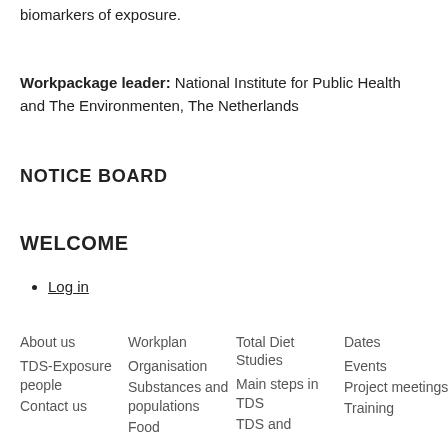biomarkers of exposure.
Workpackage leader: National Institute for Public Health and The Environmenten, The Netherlands
NOTICE BOARD
WELCOME
Log in
About us
TDS-Exposure people
Contact us
Workplan
Organisation
Substances and populations
Food
Total Diet Studies
Main steps in TDS
TDS and
Dates
Events
Project meetings
Training